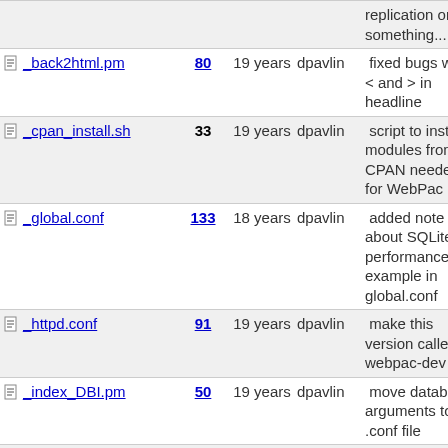| Name | Rev | Age | Author | Last log entry |
| --- | --- | --- | --- | --- |
| [partial top row] |  |  |  | replication or something...... |
| _back2html.pm | 80 | 19 years | dpavlin | fixed bugs with < and > in headline |
| _cpan_install.sh | 33 | 19 years | dpavlin | script to install modules from CPAN needed for WebPac |
| _global.conf | 133 | 18 years | dpavlin | added note about SQLite performance example in global.conf |
| _httpd.conf | 91 | 19 years | dpavlin | make this version called webpac-dev |
| _index_DBI.pm | 50 | 19 years | dpavlin | move database arguments to .conf file |
| index_DBI_cache.pm | 127 | 18 years | dpavlin | if searched word is not found when searching from beginning of index, try to fin... |
| _isis_sf.pm | 105 | 19 years | dpavlin | renamed get_sf to (isis|marc)_sf to |